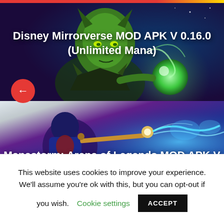[Figure (screenshot): Top navigation bar with red and yellow gradient]
[Figure (illustration): Disney Mirrorverse game character - green-skinned villain with glowing orb, dark purple/blue fantasy background]
Disney Mirrorverse MOD APK V 0.16.0 (Unlimited Mana)
[Figure (illustration): Manastorm: Arena of Legends game character - warrior in blue/red armor wielding a golden staff with blue lightning, light blue background]
Manastorm: Arena of Legends MOD APK V
This website uses cookies to improve your experience. We'll assume you're ok with this, but you can opt-out if you wish. Cookie settings ACCEPT